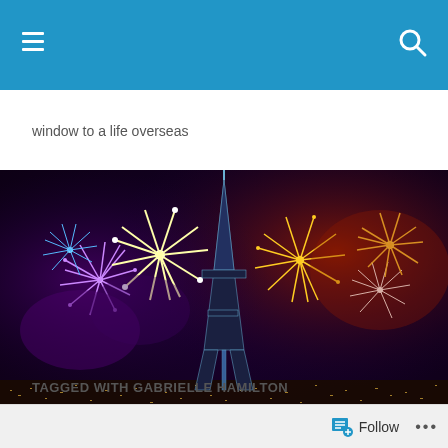Navigation bar with menu and search icons
window to a life overseas
[Figure (photo): Fireworks over the Eiffel Tower in Paris at night, with colorful explosions of purple, blue, white, and gold against a dark red sky with city lights below.]
TAGGED WITH GABRIELLE HAMILTON
Follow ...